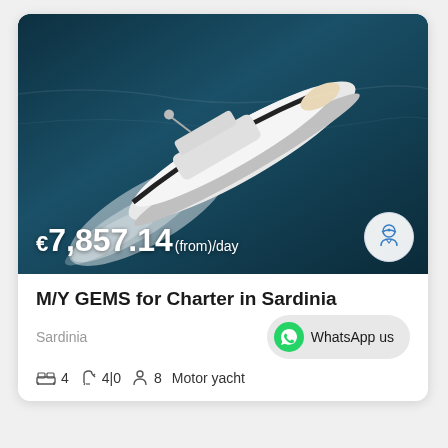[Figure (photo): Aerial view of a white luxury motor yacht named GEMS cutting through dark blue Mediterranean sea water, leaving a white wake, shot from above and slightly behind]
€7,857.14(from)/day
M/Y GEMS for Charter in Sardinia
Sardinia
WhatsApp us
4  4|0  8  Motor yacht